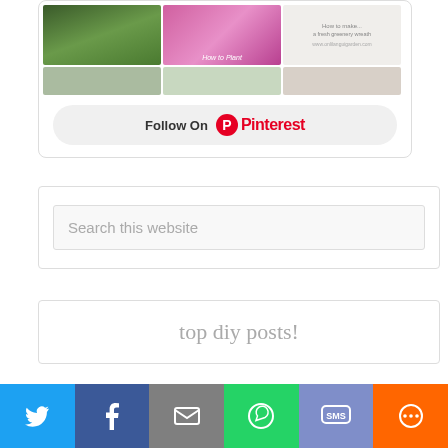[Figure (screenshot): Pinterest widget showing a grid of garden/DIY images above a Follow On Pinterest button]
[Figure (screenshot): Search this website input box widget]
top diy posts!
[Figure (infographic): Social share bar with Twitter, Facebook, Email, WhatsApp, SMS, and More buttons]